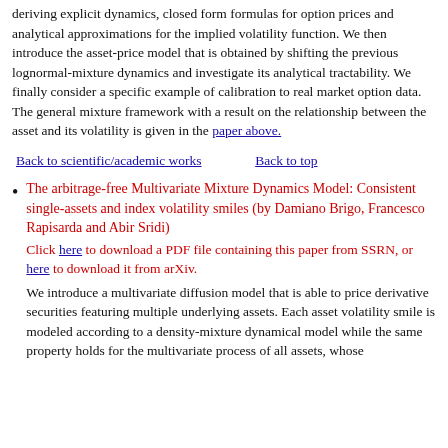deriving explicit dynamics, closed form formulas for option prices and analytical approximations for the implied volatility function. We then introduce the asset-price model that is obtained by shifting the previous lognormal-mixture dynamics and investigate its analytical tractability. We finally consider a specific example of calibration to real market option data. The general mixture framework with a result on the relationship between the asset and its volatility is given in the paper above.
Back to scientific/academic works    Back to top
The arbitrage-free Multivariate Mixture Dynamics Model: Consistent single-assets and index volatility smiles (by Damiano Brigo, Francesco Rapisarda and Abir Sridi)
Click here to download a PDF file containing this paper from SSRN, or here to download it from arXiv.
We introduce a multivariate diffusion model that is able to price derivative securities featuring multiple underlying assets. Each asset volatility smile is modeled according to a density-mixture dynamical model while the same property holds for the multivariate process of all assets, whose